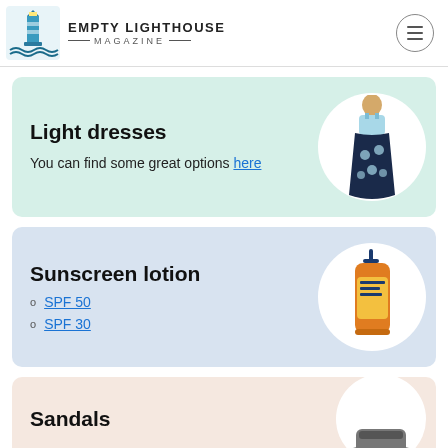Empty Lighthouse Magazine
Light dresses
You can find some great options here
[Figure (illustration): Woman wearing a blue and floral maxi dress]
Sunscreen lotion
SPF 50
SPF 30
[Figure (photo): Orange sunscreen lotion bottle with blue pump]
Sandals
[Figure (photo): Partial view of sandals]